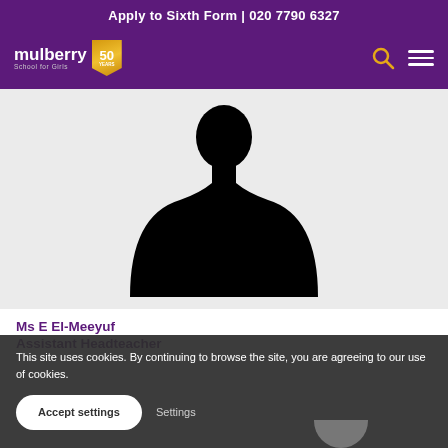Apply to Sixth Form | 020 7790 6327
[Figure (logo): Mulberry School for Girls logo with 50th anniversary badge]
[Figure (photo): Silhouette placeholder image of a person (black shape on white background)]
Ms E El-Meeyuf
Assistant Headteacher
This site uses cookies. By continuing to browse the site, you are agreeing to our use of cookies.